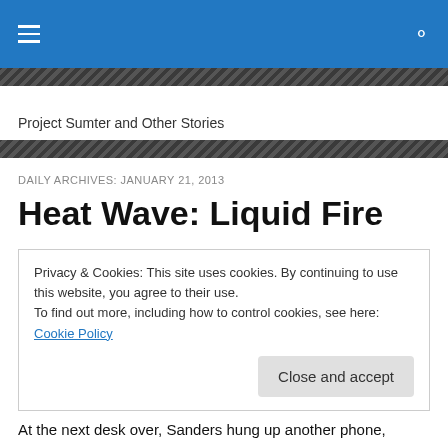Project Sumter and Other Stories
DAILY ARCHIVES: JANUARY 21, 2013
Heat Wave: Liquid Fire
Privacy & Cookies: This site uses cookies. By continuing to use this website, you agree to their use.
To find out more, including how to control cookies, see here: Cookie Policy
Close and accept
At the next desk over, Sanders hung up another phone,